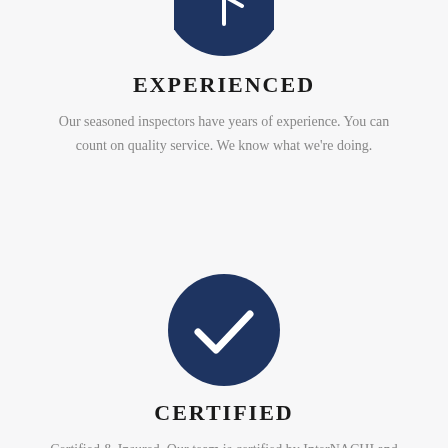[Figure (illustration): Dark navy blue circle with a white clock or award icon, partially cropped at top]
EXPERIENCED
Our seasoned inspectors have years of experience. You can count on quality service. We know what we're doing.
[Figure (illustration): Dark navy blue circle with a white checkmark icon]
CERTIFIED
Certified & Insured. Our team is certified by InterNACHI and abide by a strict Standard of Practice.